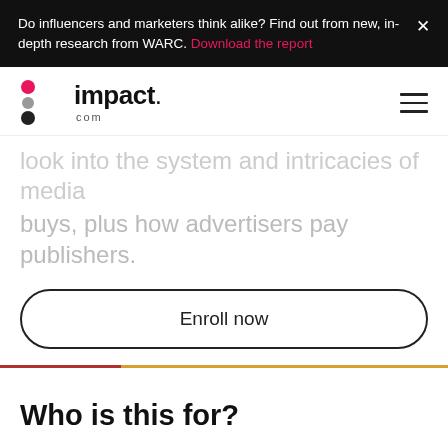Do influencers and marketers think alike? Find out from new, in-depth research from WARC. Download the report
[Figure (logo): impact.com logo with colored dots and hamburger menu icon]
...look into the system and intricacies of media buys, plus how advertisers pay publishers.
Enroll now
Who is this for?